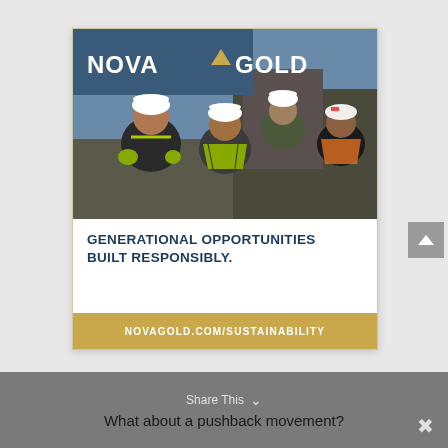[Figure (illustration): NovaGold advertisement showing four workers in hard hats and safety vests at a mining site, with the NovaGold logo, tagline 'GENERATIONAL OPPORTUNITIES BUILT RESPONSIBLY.' and URL 'NOVAGOLD.COM/SUSTAINABILITY']
Share This
What about a pushback movement?